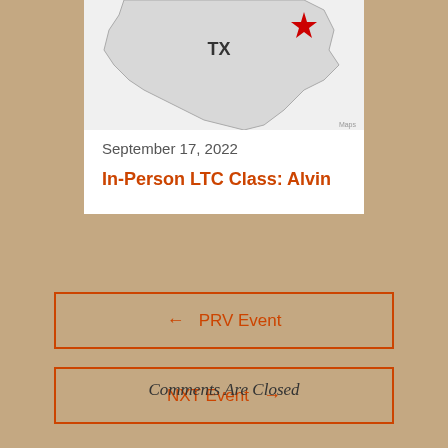[Figure (map): Partial map of Texas with a red star marker in the upper right area, with 'TX' label visible]
September 17, 2022
In-Person LTC Class: Alvin
← PRV Event
NXT Event →
Comments Are Closed